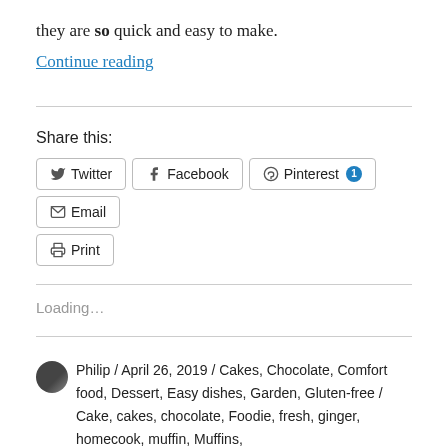they are so quick and easy to make.
Continue reading
Share this:
Twitter  Facebook  Pinterest 1  Email  Print
Loading...
Philip / April 26, 2019 / Cakes, Chocolate, Comfort food, Dessert, Easy dishes, Garden, Gluten-free / Cake, cakes, chocolate, Foodie, fresh, ginger, homecook, muffin, Muffins, recipe, Rhubarb, Seasonal, stem ginger / Leave a comment